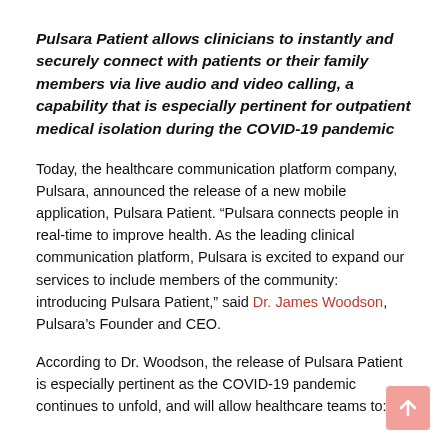Pulsara Patient allows clinicians to instantly and securely connect with patients or their family members via live audio and video calling, a capability that is especially pertinent for outpatient medical isolation during the COVID-19 pandemic
Today, the healthcare communication platform company, Pulsara, announced the release of a new mobile application, Pulsara Patient. “Pulsara connects people in real-time to improve health. As the leading clinical communication platform, Pulsara is excited to expand our services to include members of the community: introducing Pulsara Patient,” said Dr. James Woodson, Pulsara’s Founder and CEO.
According to Dr. Woodson, the release of Pulsara Patient is especially pertinent as the COVID-19 pandemic continues to unfold, and will allow healthcare teams to: